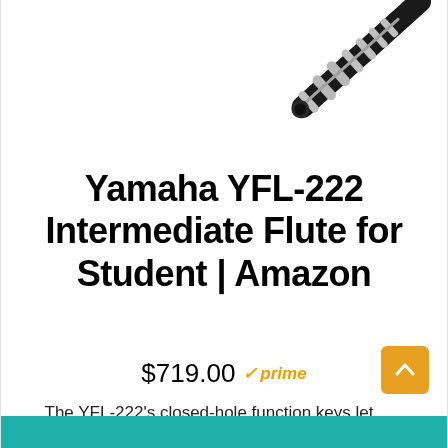[Figure (photo): Partial image of a Yamaha YFL-222 flute (black and silver) shown diagonally in the upper-right corner of the page]
Yamaha YFL-222 Intermediate Flute for Student | Amazon
$719.00  ✓prime
The YFL-222's closed-hole function keys let your beginner flutist enjoy learning to play the flute while facilitating proper hand position.